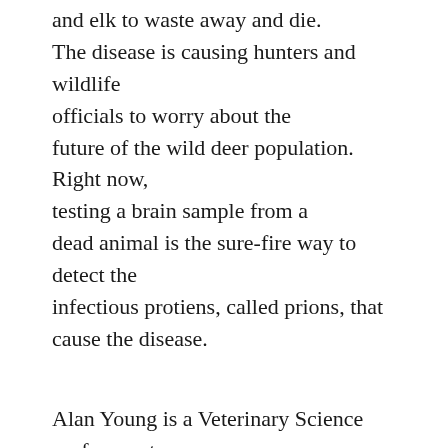and elk to waste away and die. The disease is causing hunters and wildlife officials to worry about the future of the wild deer population. Right now, testing a brain sample from a dead animal is the sure-fire way to detect the infectious protiens, called prions, that cause the disease.
Alan Young is a Veterinary Science professor at South Dakota State University. He’s developing the new test.
“Our ultimate goal is basically to develop a test